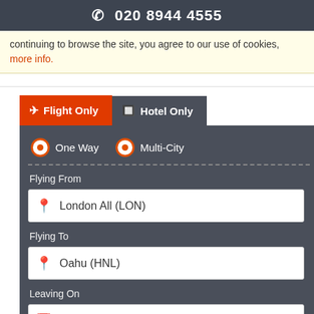☎ 020 8944 4555
continuing to browse the site, you agree to our use of cookies, more info.
[Figure (screenshot): Flight booking search form with tabs (Flight Only, Hotel Only), radio buttons (One Way, Multi-City), Flying From field showing London All (LON), Flying To field showing Oahu (HNL), and Leaving On field showing 29/08/2022]
Flying From
London All (LON)
Flying To
Oahu (HNL)
Leaving On
29/08/2022